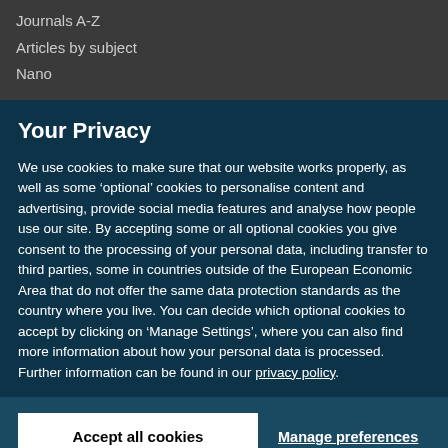Journals A-Z
Articles by subject
Nano
Your Privacy
We use cookies to make sure that our website works properly, as well as some ‘optional’ cookies to personalise content and advertising, provide social media features and analyse how people use our site. By accepting some or all optional cookies you give consent to the processing of your personal data, including transfer to third parties, some in countries outside of the European Economic Area that do not offer the same data protection standards as the country where you live. You can decide which optional cookies to accept by clicking on ‘Manage Settings’, where you can also find more information about how your personal data is processed. Further information can be found in our privacy policy.
Accept all cookies
Manage preferences